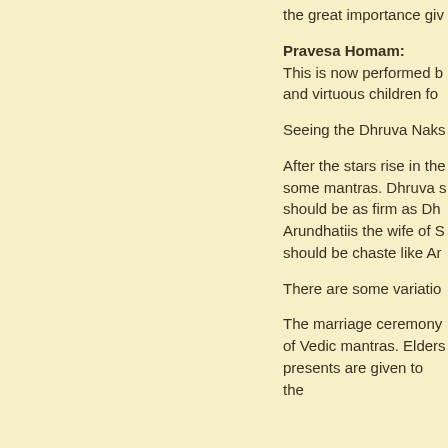the great importance giv
Pravesa Homam:
This is now performed b
and virtuous children fo
Seeing the Dhruva Naks
After the stars rise in the
some mantras. Dhruva s
should be as firm as Dh
Arundhatiis the wife of S
should be chaste like Ar
There are some variatio
The marriage ceremony
of Vedic mantras. Elders
presents are given to the